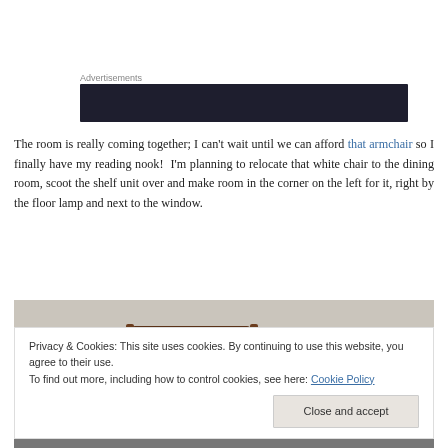Advertisements
[Figure (other): Dark advertisement banner block]
The room is really coming together; I can't wait until we can afford that armchair so I finally have my reading nook!  I'm planning to relocate that white chair to the dining room, scoot the shelf unit over and make room in the corner on the left for it, right by the floor lamp and next to the window.
[Figure (photo): Photo of a room with a wooden curtain rod mounted on a light gray wall]
Privacy & Cookies: This site uses cookies. By continuing to use this website, you agree to their use.
To find out more, including how to control cookies, see here: Cookie Policy
Close and accept